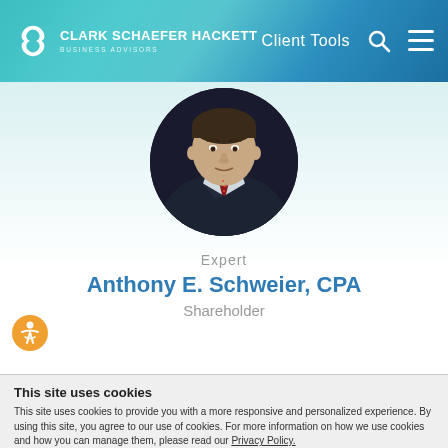CLARK SCHAEFER HACKETT BUSINESS ADVISORS | Client Tools
[Figure (photo): Circular profile photo of Anthony E. Schweier, CPA wearing a dark suit and patterned tie]
Expert
Anthony E. Schweier, CPA
Shareholder
This site uses cookies
This site uses cookies to provide you with a more responsive and personalized experience. By using this site, you agree to our use of cookies. For more information on how we use cookies and how you can manage them, please read our Privacy Policy.
Accept & Close
Show details